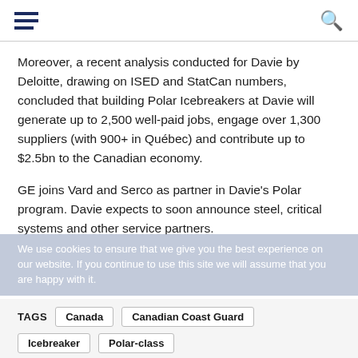[Navigation bar with hamburger menu and search icon]
Moreover, a recent analysis conducted for Davie by Deloitte, drawing on ISED and StatCan numbers, concluded that building Polar Icebreakers at Davie will generate up to 2,500 well-paid jobs, engage over 1,300 suppliers (with 900+ in Québec) and contribute up to $2.5bn to the Canadian economy.
GE joins Vard and Serco as partner in Davie's Polar program. Davie expects to soon announce steel, critical systems and other service partners.
We use cookies to ensure that we give you the best experience on our website. If you continue to use this site we will assume that you are happy with it.
TAGS  Canada  Canadian Coast Guard
Icebreaker  Polar-class